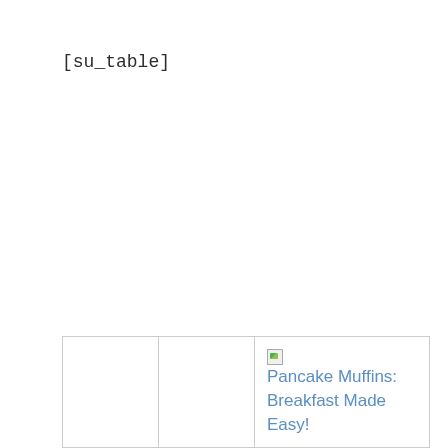[su_table]
|  |  | Pancake Muffins: Breakfast Made Easy! |